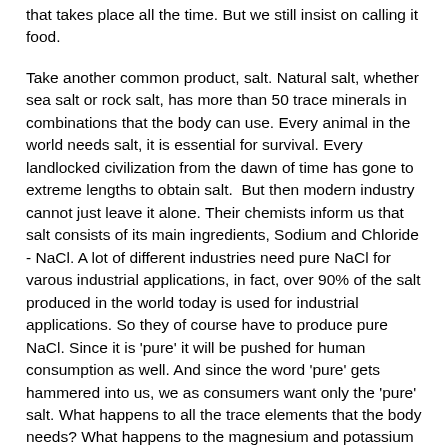that takes place all the time. But we still insist on calling it food.
Take another common product, salt. Natural salt, whether sea salt or rock salt, has more than 50 trace minerals in combinations that the body can use. Every animal in the world needs salt, it is essential for survival. Every landlocked civilization from the dawn of time has gone to extreme lengths to obtain salt.  But then modern industry cannot just leave it alone. Their chemists inform us that salt consists of its main ingredients, Sodium and Chloride - NaCl. A lot of different industries need pure NaCl for varous industrial applications, in fact, over 90% of the salt produced in the world today is used for industrial applications. So they of course have to produce pure NaCl. Since it is 'pure' it will be pushed for human consumption as well. And since the word 'pure' gets hammered into us, we as consumers want only the 'pure' salt. What happens to all the trace elements that the body needs? What happens to the magnesium and potassium which is there in natural salt in the right proportions to help the body absorb the sodium in the NaCl? What happens to the minerals that have been lost in the